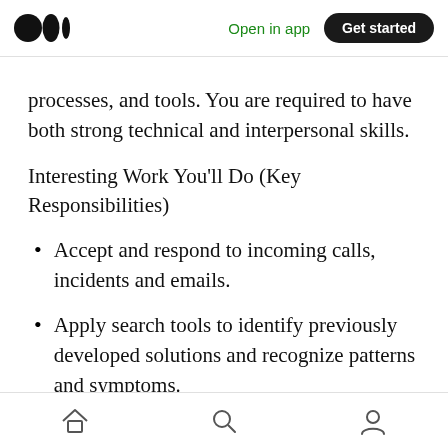Medium logo | Open in app | Get started
processes, and tools. You are required to have both strong technical and interpersonal skills.
Interesting Work You’ll Do (Key Responsibilities)
Accept and respond to incoming calls, incidents and emails.
Apply search tools to identify previously developed solutions and recognize patterns and symptoms.
Research problems and analyze issues.
Home | Search | Profile